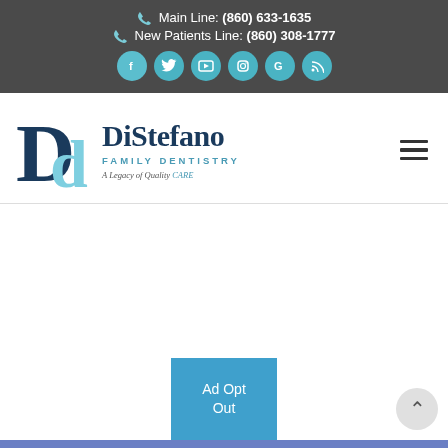Main Line: (860) 633-1635
New Patients Line: (860) 308-1777
[Figure (logo): DiStefano Family Dentistry logo with stylized 'Dd' monogram in dark navy and light blue, company name, tagline 'A Legacy of Quality CARE']
Ad Opt Out